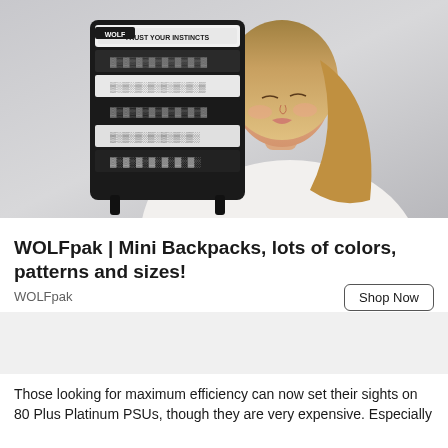[Figure (photo): Young woman with long blonde hair holding up a black and white patterned WOLF branded backpack/bag against a light gray background. The bag has text reading 'TRUST YOUR INSTINCTS' and 'WOLF'.]
WOLFpak | Mini Backpacks, lots of colors, patterns and sizes!
WOLFpak
Shop Now
Those looking for maximum efficiency can now set their sights on 80 Plus Platinum PSUs, though they are very expensive. Especially